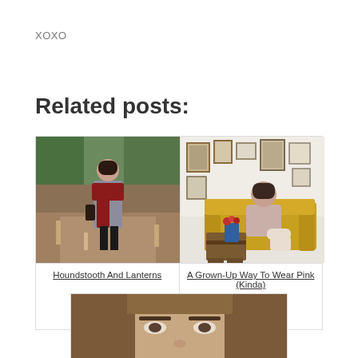XOXO
Related posts:
[Figure (photo): Woman wearing a grey houndstooth coat and red scarf standing on a park path surrounded by autumn trees]
Houndstooth And Lanterns
[Figure (photo): Woman in a beige/pink turtleneck sweater and wide-leg pants sitting on a vintage yellow velvet sofa in a room decorated with framed portraits on the wall]
A Grown-Up Way To Wear Pink (Kinda)
[Figure (photo): Close-up portrait of a woman with long brown hair, partially visible at the bottom of the page]